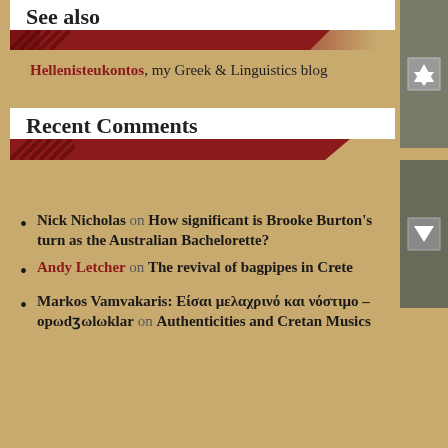See also
Hellenisteukontos, my Greek & Linguistics blog
Recent Comments
Nick Nicholas on How significant is Brooke Burton's turn as the Australian Bachelorette?
Andy Letcher on The revival of bagpipes in Crete
Markos Vamvakaris: Είσαι μελαχρινό και νόστιμο – opωdʒωlωklar on Authenticities and Cretan Musics